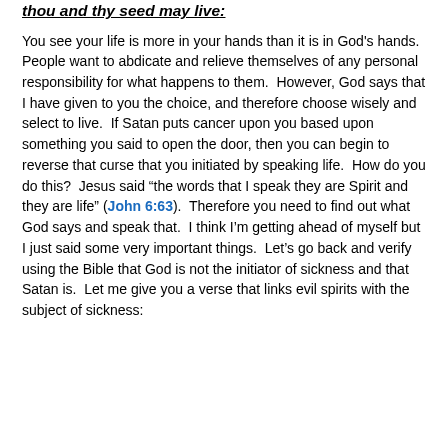thou and thy seed may live:
You see your life is more in your hands than it is in God's hands.  People want to abdicate and relieve themselves of any personal responsibility for what happens to them.  However, God says that I have given to you the choice, and therefore choose wisely and select to live.  If Satan puts cancer upon you based upon something you said to open the door, then you can begin to reverse that curse that you initiated by speaking life.  How do you do this?  Jesus said “the words that I speak they are Spirit and they are life” (John 6:63).  Therefore you need to find out what God says and speak that.  I think I’m getting ahead of myself but I just said some very important things.  Let’s go back and verify using the Bible that God is not the initiator of sickness and that Satan is.  Let me give you a verse that links evil spirits with the subject of sickness: